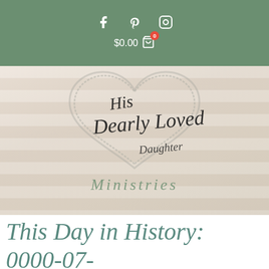Social icons (Facebook, Pinterest, Instagram) and cart $0.00
[Figure (logo): His Dearly Loved Daughter Ministries logo with a hand-drawn heart and cursive script text, on a wood-plank background]
[Figure (other): Hamburger menu icon (three horizontal lines) on a semi-transparent white bar]
This Day in History: 0000-07-06